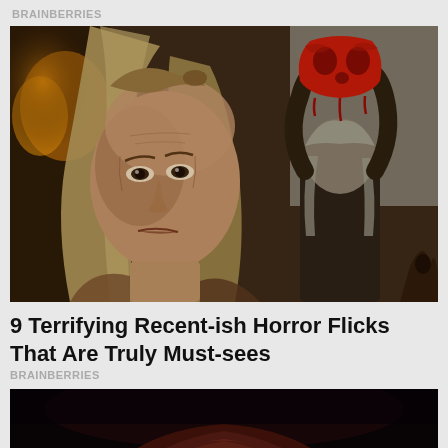BRAINBERRIES
[Figure (photo): A still from a horror movie showing an older woman with long gray-blonde hair in the foreground looking concerned, and in the background another figure holding up a red mask above their head.]
9 Terrifying Recent-ish Horror Flicks That Are Truly Must-sees
BRAINBERRIES
[Figure (photo): A dark horror movie still showing the top of a person's head with dark reddish-brown hair against a near-black background.]